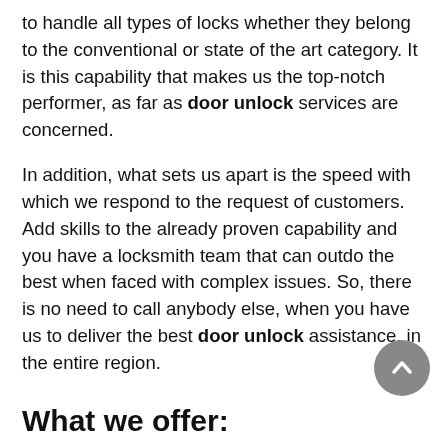to handle all types of locks whether they belong to the conventional or state of the art category. It is this capability that makes us the top-notch performer, as far as door unlock services are concerned.
In addition, what sets us apart is the speed with which we respond to the request of customers. Add skills to the already proven capability and you have a locksmith team that can outdo the best when faced with complex issues. So, there is no need to call anybody else, when you have us to deliver the best door unlock assistance, in the entire region.
What we offer:
Princeton Heights Locksmith Store doesn't believe in leaving the customers in a lurch during the time of crisis but is always available round the clock to resolve the lock & key problems. Our professionals take not more than 30 minutes to deliver services right at the door steps of customers. All through the troubleshooting process, we